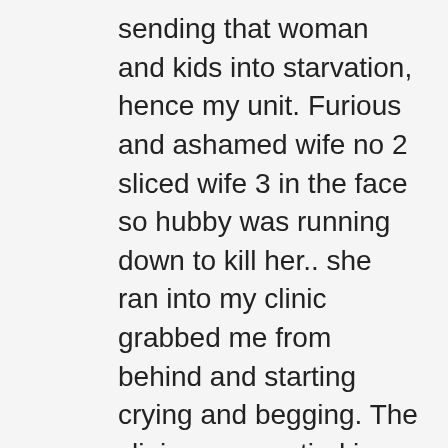sending that woman and kids into starvation, hence my unit. Furious and ashamed wife no 2 sliced wife 3 in the face so hubby was running down to kill her.. she ran into my clinic grabbed me from behind and starting crying and begging. The clinic was emptied in a-nano second. I went from thinking she was attacking me to realizing she wanted my protection. Bun Seat the cambodian supervisor hesitantly stuck his head back inside to translate for me and let me know the husband was outside threatening to kill her. I was just 25 but i have a thing about protecting people. She needed my protection – she got it. Not sure where i got that confidence but i mentally prepared to fight that man figuring i would use one of the exam tables as a shield ( light weight made from bamboo and thatch). Well, he never did